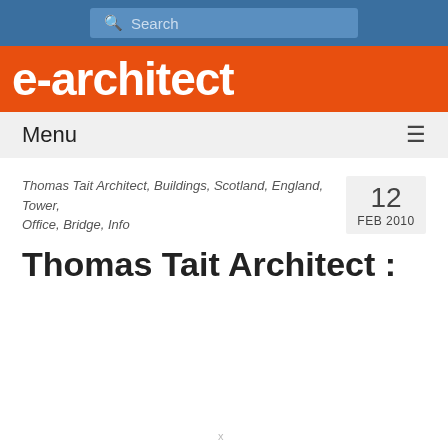Search
e-architect
Menu
Thomas Tait Architect, Buildings, Scotland, England, Tower, Office, Bridge, Info
12 FEB 2010
Thomas Tait Architect :